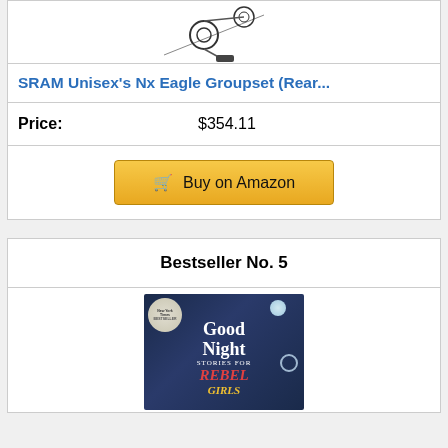[Figure (photo): Partial view of SRAM bicycle groupset product image (top cut off)]
SRAM Unisex's Nx Eagle Groupset (Rear...
Price: $354.11
Buy on Amazon
Bestseller No. 5
[Figure (photo): Book cover of 'Good Night Stories for Rebel Girls', New York Times Bestseller, dark blue background with moon and decorative lettering]